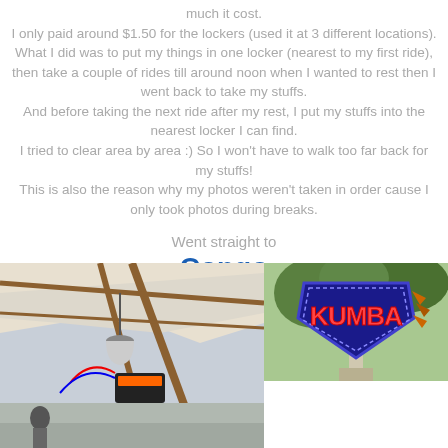much it cost.
I only paid around $1.50 for the lockers (used it at 3 different locations).
What I did was to put my things in one locker (nearest to my first ride),
then take a couple of rides till around noon when I wanted to rest then I went back to take my stuffs.
And before taking the next ride after my rest, I put my stuffs into the nearest locker I can find.
I tried to clear area by area :) So I won't have to walk too far back for my stuffs!
This is also the reason why my photos weren't taken in order cause I only took photos during breaks.
Went straight to
Congo
[Figure (photo): Three photos: left large photo shows a covered queue area with a lamp and signage for what appears to be a theme park ride; top right shows the Kumba roller coaster sign with colorful tribal-style design; bottom right shows another covered queue area.]